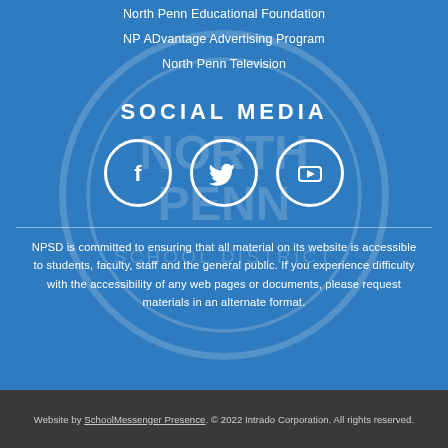North Penn Educational Foundation
NP ADvantage Advertising Program
North Penn Television
SOCIAL MEDIA
[Figure (infographic): Three social media icon circles: Facebook (f), Twitter (bird), YouTube (play button triangle)]
NPSD is committed to ensuring that all material on its website is accessible to students, faculty, staff and the general public. If you experience difficulty with the accessibility of any web pages or documents, please request materials in an alternate format.
Website by SchoolMessenger Presence. © 2022 Intrado Corporation. All rights reserved.